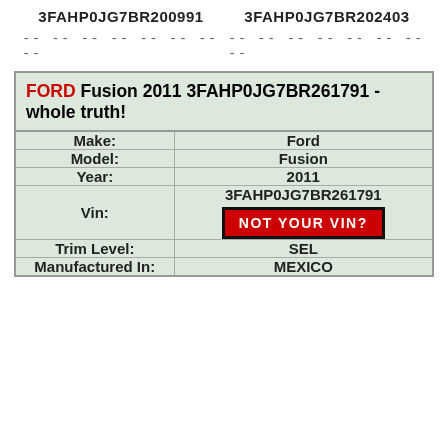3FAHP0JG7BR200991
3FAHP0JG7BR202403
-- -- -- -- -- -- -- -- -- --
-- -- -- -- -- -- -- -- -- --
FORD Fusion 2011 3FAHP0JG7BR261791 - whole truth!
| Field | Value |
| --- | --- |
| Make: | Ford |
| Model: | Fusion |
| Year: | 2011 |
| Vin: | 3FAHP0JG7BR261791 / NOT YOUR VIN? |
| Trim Level: | SEL |
| Manufactured In: | MEXICO |